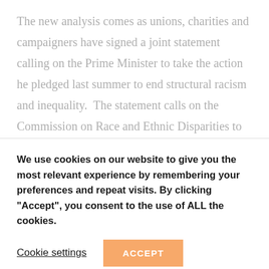The new analysis comes as unions, charities and campaigners have signed a joint statement calling on the Prime Minister to take the action he pledged last summer to end structural racism and inequality.  The statement calls on the Commission on Race and Ethnic Disparities to publish its report into structural racism – which was due to be issued in January but has now been put back twice – without
We use cookies on our website to give you the most relevant experience by remembering your preferences and repeat visits. By clicking "Accept", you consent to the use of ALL the cookies.
Cookie settings
ACCEPT